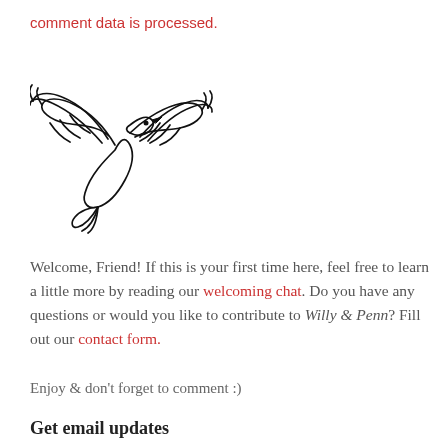comment data is processed.
[Figure (illustration): Line drawing of a bird (dove) in flight with wings spread, facing right, drawn in black ink on white background]
Welcome, Friend! If this is your first time here, feel free to learn a little more by reading our welcoming chat. Do you have any questions or would you like to contribute to Willy & Penn? Fill out our contact form.
Enjoy & don't forget to comment :)
Get email updates